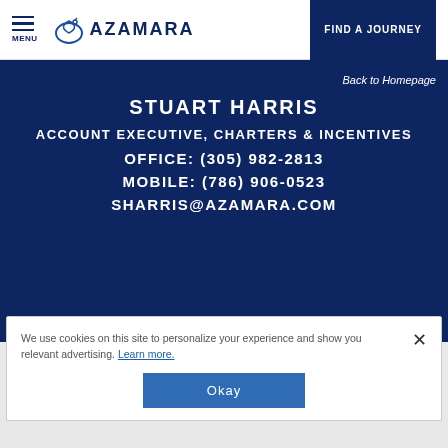MENU | AZAMARA | FIND A JOURNEY
STUART HARRIS
ACCOUNT EXECUTIVE, CHARTERS & INCENTIVES
OFFICE: (305) 982-2813
MOBILE: (786) 906-0523
SHARRIS@AZAMARA.COM
Back to Homepage
We use cookies on this site to personalize your experience and show you relevant advertising. Learn more.
Okay